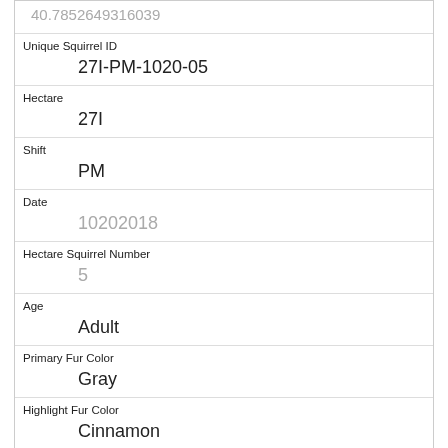| 40.7852649316039 |
| Unique Squirrel ID | 27I-PM-1020-05 |
| Hectare | 27I |
| Shift | PM |
| Date | 10202018 |
| Hectare Squirrel Number | 5 |
| Age | Adult |
| Primary Fur Color | Gray |
| Highlight Fur Color | Cinnamon |
| Combination of Primary and Highlight Color | Gray+Cinnamon |
| Color notes |  |